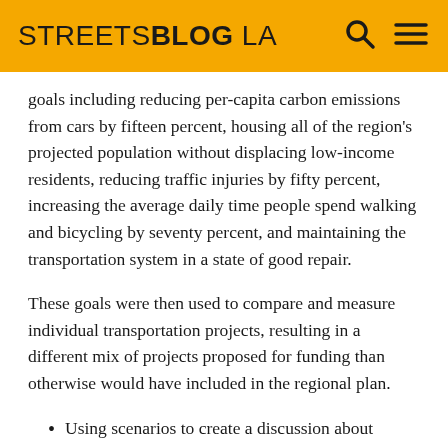STREETSBLOG LA
goals including reducing per-capita carbon emissions from cars by fifteen percent, housing all of the region’s projected population without displacing low-income residents, reducing traffic injuries by fifty percent, increasing the average daily time people spend walking and bicycling by seventy percent, and maintaining the transportation system in a state of good repair.
These goals were then used to compare and measure individual transportation projects, resulting in a different mix of projects proposed for funding than otherwise would have included in the regional plan.
Using scenarios to create a discussion about where and how a region should grow.